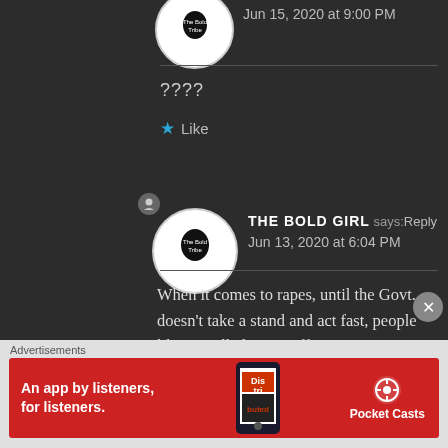Jun 15, 2020 at 9:00 PM
????
★ Like
THE BOLD GIRL says: Reply
Jun 13, 2020 at 6:04 PM
When it comes to rapes, until the Govt. doesn't take a stand and act fast, people like us will always suffer. I never
[Figure (screenshot): Advertisement banner for Pocket Casts app showing 'An app by listeners, for listeners.' with phone image on red background]
Advertisements